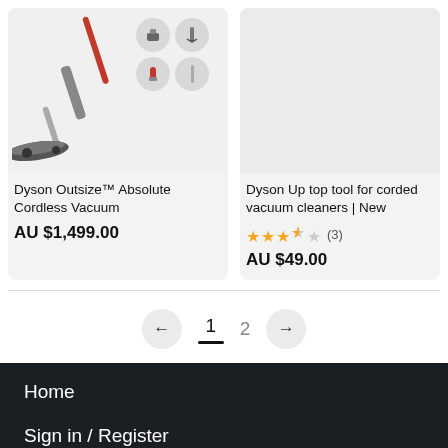[Figure (photo): Dyson Outsize cordless vacuum cleaner with accessories icons]
Dyson Outsize™ Absolute Cordless Vacuum
AU $1,499.00
[Figure (photo): Blank product image area for Dyson Up top tool]
Dyson Up top tool for corded vacuum cleaners | New
★★★½ (3)
AU $49.00
← 1 2 →
Home
Sign in / Register
Sell an item